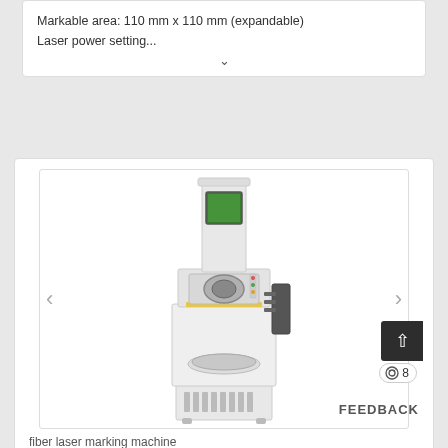Markable area: 110 mm x 110 mm (expandable)
Laser power setting...
[Figure (photo): Fiber laser marking machine — a tall white industrial cabinet with green viewing window at top, laser head assembly in the middle, rotary table at the bottom, and a side-mounted monitor arm. Navigation arrows on left and right sides.]
fiber laser marking machine